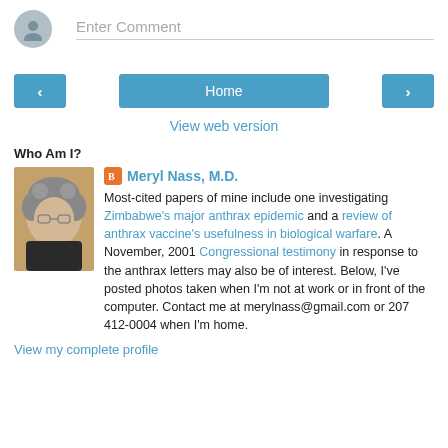[Figure (other): Comment input field with generic avatar circle icon on the left and 'Enter Comment' placeholder text]
[Figure (other): Navigation buttons row: left arrow button, Home button in center, right arrow button]
View web version
Who Am I?
[Figure (photo): Profile photo of Meryl Nass, M.D. — woman with curly gray hair and glasses]
Meryl Nass, M.D.
Most-cited papers of mine include one investigating Zimbabwe's major anthrax epidemic and a review of anthrax vaccine's usefulness in biological warfare. A November, 2001 Congressional testimony in response to the anthrax letters may also be of interest. Below, I've posted photos taken when I'm not at work or in front of the computer. Contact me at merylnass@gmail.com or 207 412-0004 when I'm home.
View my complete profile